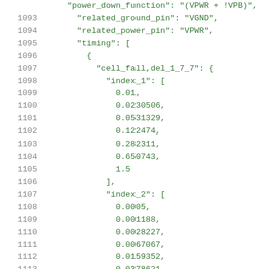Code listing lines 1093-1113 showing JSON data with related_ground_pin, related_power_pin, timing, cell_fall, index_1, and index_2 arrays